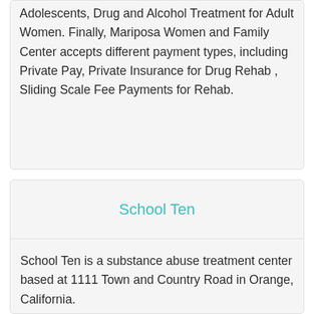Adolescents, Drug and Alcohol Treatment for Adult Women. Finally, Mariposa Women and Family Center accepts different payment types, including Private Pay, Private Insurance for Drug Rehab , Sliding Scale Fee Payments for Rehab.
School Ten
School Ten is a substance abuse treatment center based at 1111 Town and Country Road in Orange, California.

The main approaches to treatment at this center include Relapse Prevention Plans, 12